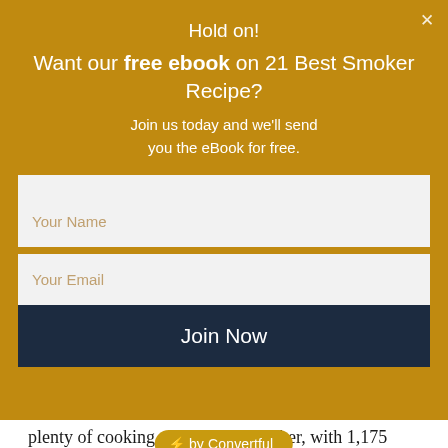Hold on! Want our free ebook on 21 Best Smoker Recipe?
Join us today and we'll send you the eBook for free.
[Figure (other): Email signup form with Your Name field, Your Email field, and Join Now button on gold background]
[Figure (other): Convertful badge pill with lightning bolt icon]
plenty of cooking space in the smoker, with 1,175 square inches available for a range of dishes.
To ensure that your food is cooked to your desired level of doneness, this model has an offset smoker box. Additionally, the customizable chimney and side dampers aid in the central